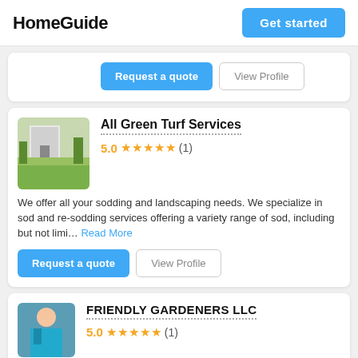HomeGuide | Get started
Request a quote | View Profile
All Green Turf Services
5.0 ★★★★★ (1)
We offer all your sodding and landscaping needs. We specialize in sod and re-sodding services offering a variety range of sod, including but not limi... Read More
Request a quote | View Profile
FRIENDLY GARDENERS LLC
5.0 ★★★★★ (1)